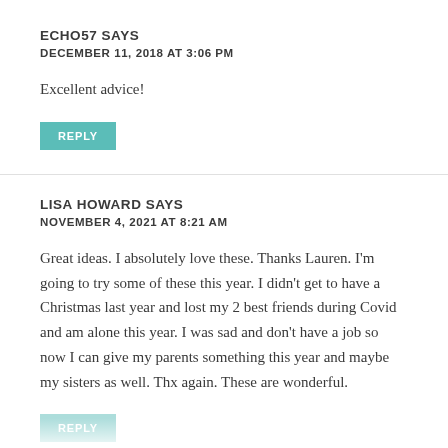ECHO57 SAYS
DECEMBER 11, 2018 AT 3:06 PM
Excellent advice!
REPLY
LISA HOWARD SAYS
NOVEMBER 4, 2021 AT 8:21 AM
Great ideas. I absolutely love these. Thanks Lauren. I'm going to try some of these this year. I didn't get to have a Christmas last year and lost my 2 best friends during Covid and am alone this year. I was sad and don't have a job so now I can give my parents something this year and maybe my sisters as well. Thx again. These are wonderful.